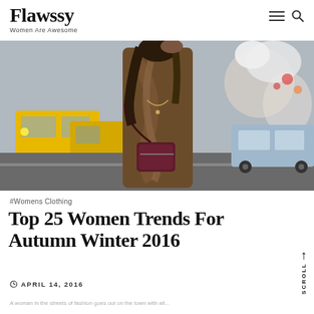Flawssy – Women Are Awesome
[Figure (photo): Street style photo of a woman in a brown coat and scarf with a dark red crossbody bag, standing on a city street with yellow taxis in the background]
#Womens Clothing
Top 25 Women Trends For Autumn Winter 2016
APRIL 14, 2016